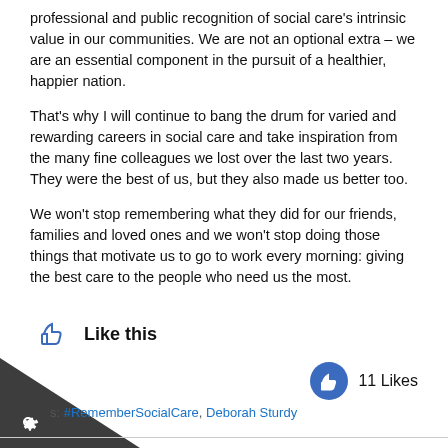professional and public recognition of social care’s intrinsic value in our communities. We are not an optional extra – we are an essential component in the pursuit of a healthier, happier nation.
That’s why I will continue to bang the drum for varied and rewarding careers in social care and take inspiration from the many fine colleagues we lost over the last two years. They were the best of us, but they also made us better too.
We won’t stop remembering what they did for our friends, families and loved ones and we won’t stop doing those things that motivate us to go to work every morning: giving the best care to the people who need us the most.
[Figure (other): Like button thumbs up icon with text 'Like this']
11 Likes
s: #RememberSocialCare, Deborah Sturdy